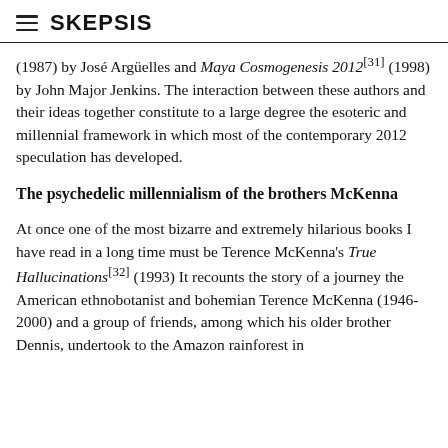SKEPSIS
(1987) by José Argüelles and Maya Cosmogenesis 2012[31] (1998) by John Major Jenkins. The interaction between these authors and their ideas together constitute to a large degree the esoteric and millennial framework in which most of the contemporary 2012 speculation has developed.
The psychedelic millennialism of the brothers McKenna
At once one of the most bizarre and extremely hilarious books I have read in a long time must be Terence McKenna's True Hallucinations[32] (1993) It recounts the story of a journey the American ethnobotanist and bohemian Terence McKenna (1946-2000) and a group of friends, among which his older brother Dennis, undertook to the Amazon rainforest in